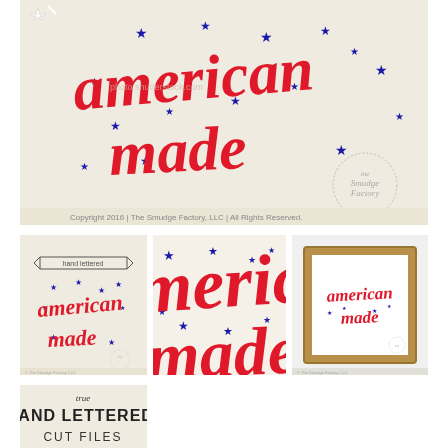[Figure (illustration): Large main image showing 'American made' in red cursive script with blue stars scattered around, a shooting star in top-left, watermark text, The Smudge Factory LLC logo circle in bottom-right, copyright text at bottom on cream background]
[Figure (illustration): Thumbnail 1: 'American made' in red cursive with banner 'hand lettered' above, blue stars, on cream background]
[Figure (illustration): Thumbnail 2: Close-up crop of 'American made' in red cursive with blue stars, partial letters visible]
[Figure (illustration): Thumbnail 3: 'American made' in red cursive in a wooden/gold frame on white background]
[Figure (illustration): Thumbnail 4 (bottom-left): 'True Hand Lettered! Cut Files' in hand-lettered black text on cream background]